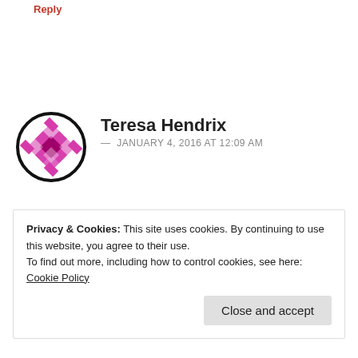Reply
Teresa Hendrix — JANUARY 4, 2016 AT 12:09 AM
where can I get GenF20 Plus? I live in phoenix az..
★ Liked by 1 person
Reply
Privacy & Cookies: This site uses cookies. By continuing to use this website, you agree to their use.
To find out more, including how to control cookies, see here: Cookie Policy
Close and accept